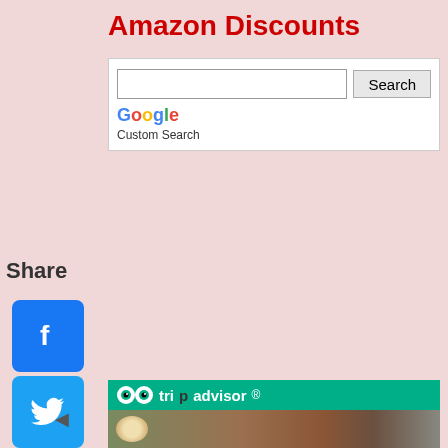Amazon Discounts
[Figure (screenshot): Google Custom Search box with text input and Search button]
Share
[Figure (infographic): Social media share icons: Facebook, Twitter, Pinterest, Tumblr, Reddit, WhatsApp]
upport this site: Buy Lakshmi's Books
[Figure (screenshot): TripAdvisor banner with logo and stone wall restaurant photo]